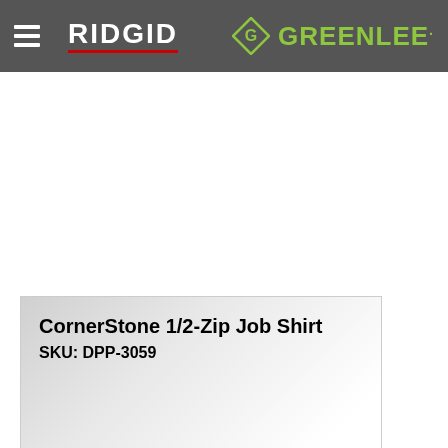RIDGID | GREENLEE navigation header
CornerStone 1/2-Zip Job Shirt
SKU: DPP-3059